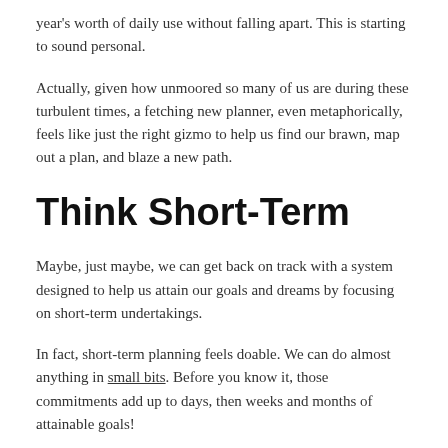year's worth of daily use without falling apart. This is starting to sound personal.
Actually, given how unmoored so many of us are during these turbulent times, a fetching new planner, even metaphorically, feels like just the right gizmo to help us find our brawn, map out a plan, and blaze a new path.
Think Short-Term
Maybe, just maybe, we can get back on track with a system designed to help us attain our goals and dreams by focusing on short-term undertakings.
In fact, short-term planning feels doable. We can do almost anything in small bits. Before you know it, those commitments add up to days, then weeks and months of attainable goals!
Where's the Time Gone?